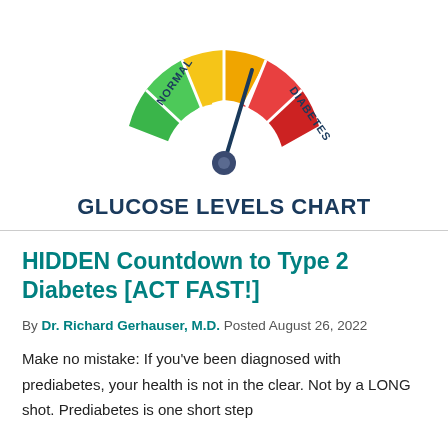[Figure (infographic): A semicircular gauge (speedometer style) showing glucose levels, divided into colored segments: green (NORMAL) on the left, yellow/orange in the middle, and red (DIABETES) on the right. A dark blue needle points toward the orange-red boundary. The gauge pivot has a dark blue circle. Labels: NORMAL on the green section, DIABETES on the red section. Below the gauge: 'GLUCOSE LEVELS CHART' in bold dark blue.]
HIDDEN Countdown to Type 2 Diabetes [ACT FAST!]
By Dr. Richard Gerhauser, M.D. Posted August 26, 2022
Make no mistake: If you've been diagnosed with prediabetes, your health is not in the clear. Not by a LONG shot. Prediabetes is one short step